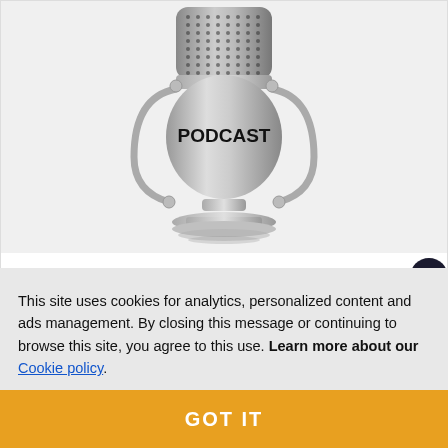[Figure (illustration): Illustration of a vintage silver podcast microphone with 'PODCAST' text on the body, on a light gray background]
Pandemic Vs Epidemic: What's the difference?
This site uses cookies for analytics, personalized content and ads management. By closing this message or continuing to browse this site, you agree to this use. Learn more about our Cookie policy.
GOT IT